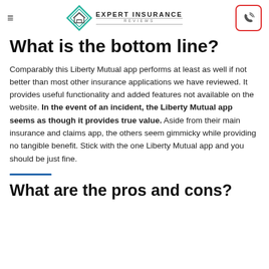Expert Insurance Reviews
What is the bottom line?
Comparably this Liberty Mutual app performs at least as well if not better than most other insurance applications we have reviewed. It provides useful functionality and added features not available on the website. In the event of an incident, the Liberty Mutual app seems as though it provides true value. Aside from their main insurance and claims app, the others seem gimmicky while providing no tangible benefit. Stick with the one Liberty Mutual app and you should be just fine.
What are the pros and cons?